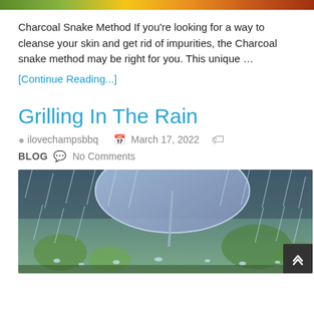[Figure (photo): Top decorative color bar image (green, yellow, orange, red gradient)]
Charcoal Snake Method If you're looking for a way to cleanse your skin and get rid of impurities, the Charcoal snake method may be right for you. This unique …
[Continue Reading...]
Grilling In The Rain
ilovechampsbbq   March 17, 2022   BLOG   No Comments
[Figure (photo): Rain falling with an umbrella visible, bokeh green background, rain drops splashing]